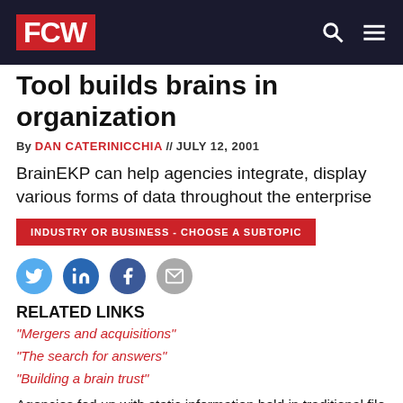FCW
Tool builds brains in organization
By DAN CATERINICCHIA // JULY 12, 2001
BrainEKP can help agencies integrate, display various forms of data throughout the enterprise
INDUSTRY OR BUSINESS - CHOOSE A SUBTOPIC
[Figure (infographic): Social sharing icons: Twitter, LinkedIn, Facebook, Email]
RELATED LINKS
"Mergers and acquisitions"
"The search for answers"
"Building a brain trust"
Agencies fed up with static information held in traditional file